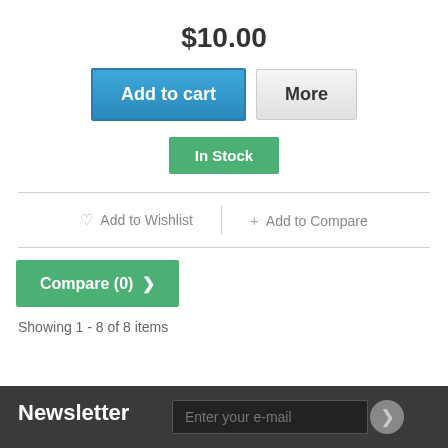$10.00
[Figure (screenshot): Add to cart button (blue) and More button (gray)]
[Figure (screenshot): In Stock green button]
Add to Wishlist
+ Add to Compare
[Figure (screenshot): Compare (0) > green button]
Showing 1 - 8 of 8 items
Newsletter   Enter your e-mail